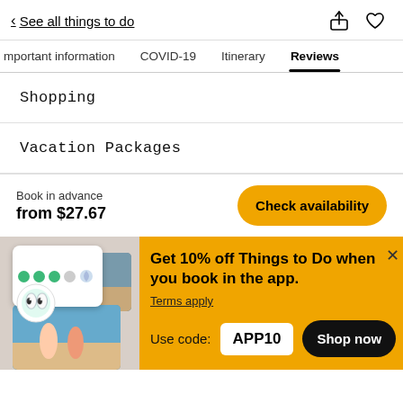< See all things to do
Important information  COVID-19  Itinerary  Reviews
Shopping
Vacation Packages
Book in advance from $27.67
Get 10% off Things to Do when you book in the app. Terms apply Use code: APP10
[Figure (screenshot): App promotion banner showing phone screenshots with activities]